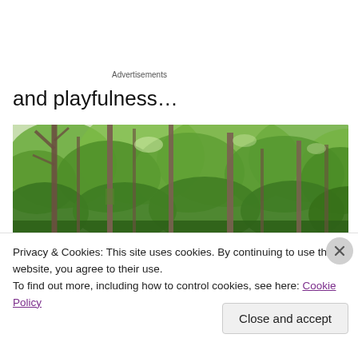Advertisements
and playfulness…
[Figure (photo): A lush green forest with tall thin tree trunks and dense green foliage in the background, photographed in natural daylight.]
Privacy & Cookies: This site uses cookies. By continuing to use this website, you agree to their use.
To find out more, including how to control cookies, see here: Cookie Policy
Close and accept